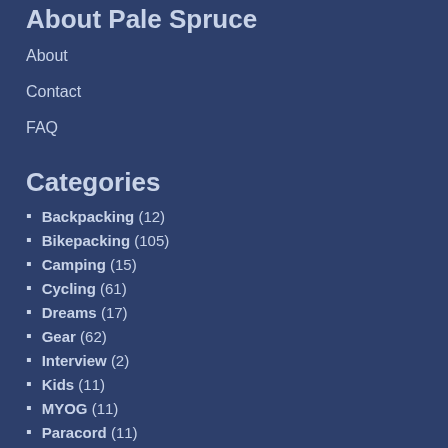About Pale Spruce
About
Contact
FAQ
Categories
Backpacking (12)
Bikepacking (105)
Camping (15)
Cycling (61)
Dreams (17)
Gear (62)
Interview (2)
Kids (11)
MYOG (11)
Paracord (11)